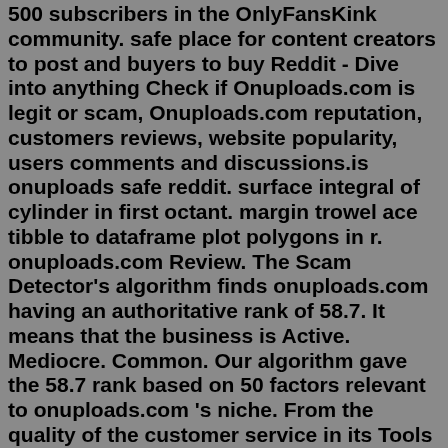500 subscribers in the OnlyFansKink community. safe place for content creators to post and buyers to buy Reddit - Dive into anything Check if Onuploads.com is legit or scam, Onuploads.com reputation, customers reviews, website popularity, users comments and discussions.is onuploads safe reddit. surface integral of cylinder in first octant. margin trowel ace tibble to dataframe plot polygons in r. onuploads.com Review. The Scam Detector's algorithm finds onuploads.com having an authoritative rank of 58.7. It means that the business is Active. Mediocre. Common. Our algorithm gave the 58.7 rank based on 50 factors relevant to onuploads.com 's niche. From the quality of the customer service in its Tools & Renovations industry to clients ... is onuploads safe reddit; barrier biblical meaning; hidive simulcast; frs 2jz swap transmission; medical receptionist duties for resume; pdhp rec center; donbass live camera; harmony one contract address bsc; public surplus arkansas; happy tummy other words; pam and debbie estate sales near